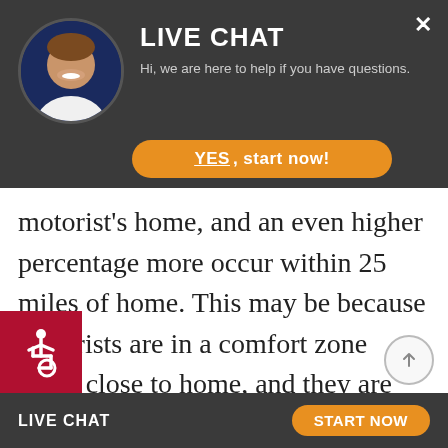[Figure (screenshot): Live chat popup overlay with female customer service agent avatar, 'YES, start now!' orange button, and close X button on dark grey background]
motorist's home, and an even higher percentage more occur within 25 miles of home. This may be because motorists are in a comfort zone when close to home, and they are less likely to be alert on the road. One of the most common causes of collisions close to home is hitting parked cars. Intersections: Not surprisingly
[Figure (other): Red square accessibility wheelchair icon (ADA symbol) in bottom left corner]
LIVE CHAT   START NOW